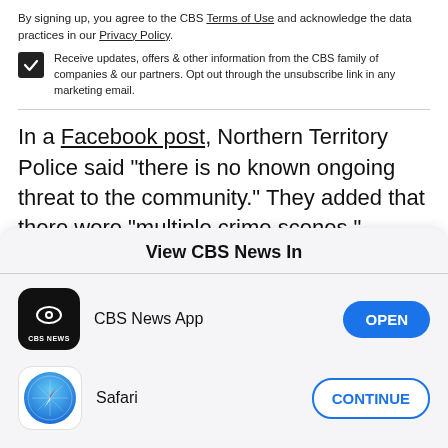By signing up, you agree to the CBS Terms of Use and acknowledge the data practices in our Privacy Policy.
Receive updates, offers & other information from the CBS family of companies & our partners. Opt out through the unsubscribe link in any marketing email.
In a Facebook post, Northern Territory Police said "there is no known ongoing threat to the community." They added that there were "multiple crime scenes."
View CBS News In
CBS News App
Safari